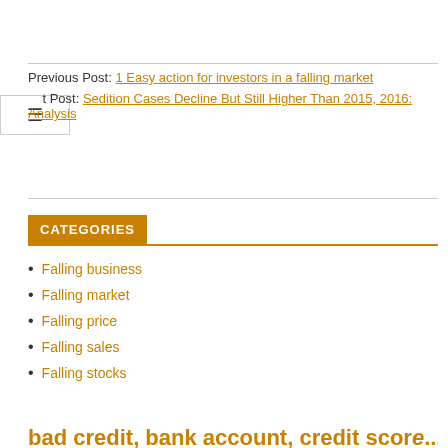Previous Post: 1 Easy action for investors in a falling market
Next Post: Sedition Cases Decline But Still Higher Than 2015, 2016: Analysis
CATEGORIES
Falling business
Falling market
Falling price
Falling sales
Falling stocks
bad credit, bank account, credit score…